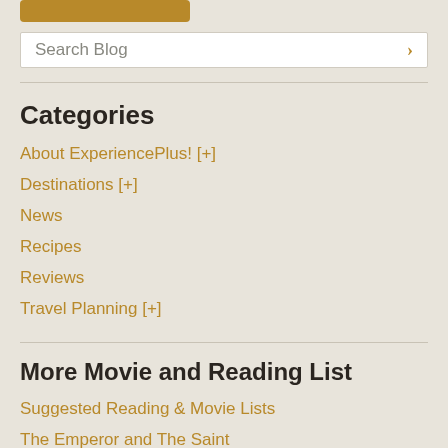[Figure (other): Golden/brown rounded button partially visible at top]
Search Blog
Categories
About ExperiencePlus! [+]
Destinations [+]
News
Recipes
Reviews
Travel Planning [+]
More Movie and Reading List
Suggested Reading & Movie Lists
The Emperor and The Saint